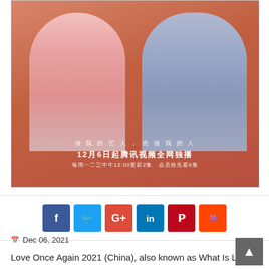[Figure (photo): Promotional poster for Love Once Again 2021 Chinese drama. Two people posing together making heart shapes with their hands - one in a pink blazer and one in a denim jacket. Chinese text at bottom reads: 做我的艺人，也做我的人 / 12月6日起腾讯视频全网独播 / 每周一二三中午12:00更新2集 会员抢先看6集]
[Figure (infographic): Social media sharing buttons row: Facebook (blue), Twitter (light blue), Google+ (red), LinkedIn (blue), Pinterest (dark red), Reddit (orange)]
📅 Dec 06, 2021
Love Once Again 2021 (China), also known as What Is Love,